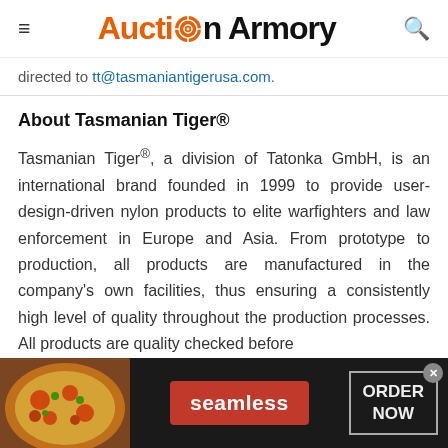Auction Armory
directed to tt@tasmaniantigerusa.com.
About Tasmanian Tiger®
Tasmanian Tiger®, a division of Tatonka GmbH, is an international brand founded in 1999 to provide user-design-driven nylon products to elite warfighters and law enforcement in Europe and Asia. From prototype to production, all products are manufactured in the company's own facilities, thus ensuring a consistently high level of quality throughout the production processes. All products are quality checked before
[Figure (photo): Advertisement banner for Seamless food delivery service with pizza image on left, red Seamless button in center, and ORDER NOW button on right, on dark background]